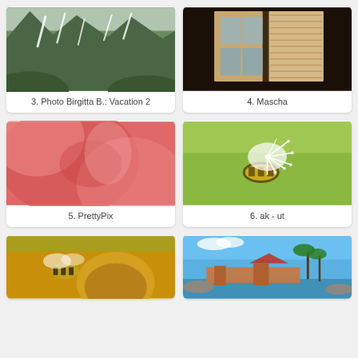[Figure (photo): Mountain landscape with snow streaks on green slopes]
3. Photo Birgitta B.: Vacation 2
[Figure (photo): Open window with wooden shutters in dark interior]
4. Mascha
[Figure (photo): Close-up macro of pink/red flower petals]
5. PrettyPix
[Figure (photo): Close-up of bee or insect on yellow-green plant with white feathery seeds]
6. ak - ut
[Figure (photo): Bee on yellow flower macro photo]
[Figure (photo): Harbor scene with palm trees, pier, and blue sky]